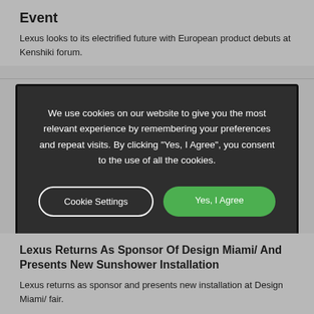Event
Lexus looks to its electrified future with European product debuts at Kenshiki forum.
[Figure (screenshot): Cookie consent modal dialog with dark background. Text reads: 'We use cookies on our website to give you the most relevant experience by remembering your preferences and repeat visits. By clicking "Yes, I Agree", you consent to the use of all the cookies.' Two buttons: 'Cookie Settings' (outlined) and 'Yes, I Agree' (green).]
Lexus Returns As Sponsor Of Design Miami/ And Presents New Sunshower Installation
Lexus returns as sponsor and presents new installation at Design Miami/ fair.